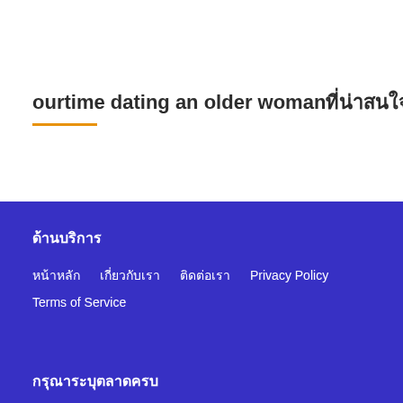ourtime dating an older womanที่น่าสนใจ
ด้านบริการ
หน้าหลัก
เกี่ยวกับเรา
ติดต่อเรา
Privacy Policy
Terms of Service
กรุณาระบุตลาดครบ